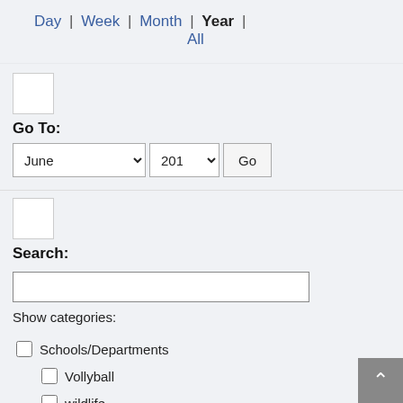Day | Week | Month | Year | All
Go To:
June 2019 Go
Search:
Show categories:
Schools/Departments
Vollyball
wildlife
Research Events
Health and Wellbeing
List of clubs